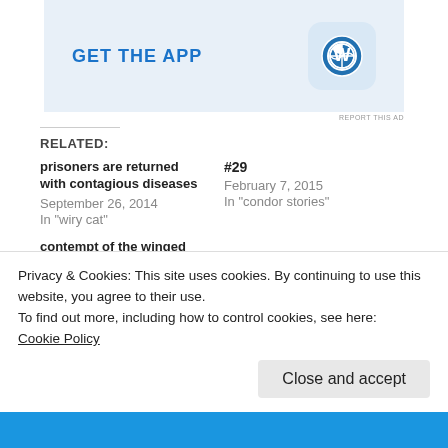[Figure (infographic): WordPress app advertisement banner with 'GET THE APP' text and WordPress logo icon on light blue background]
REPORT THIS AD
RELATED:
prisoners are returned with contagious diseases
September 26, 2014
In "wiry cat"
#29
February 7, 2015
In "condor stories"
contempt of the winged for the terrestial
Privacy & Cookies: This site uses cookies. By continuing to use this website, you agree to their use.
To find out more, including how to control cookies, see here:
Cookie Policy
Close and accept